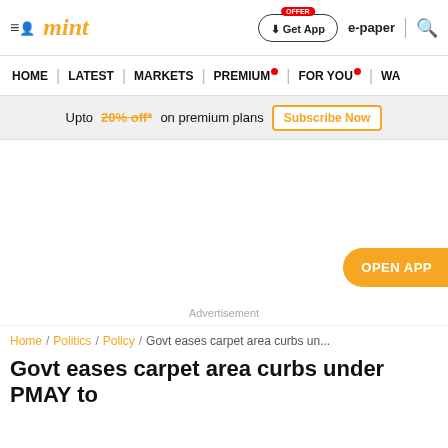mint | Get App | e-paper | search
HOME | LATEST | MARKETS | PREMIUM | FOR YOU | WA...
Upto 20% off* on premium plans  Subscribe Now
Advertisement
OPEN APP
Home / Politics / Policy / Govt eases carpet area curbs un...
Govt eases carpet area curbs under PMAY to